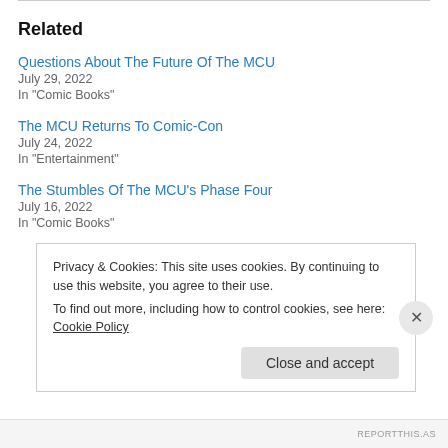Related
Questions About The Future Of The MCU
July 29, 2022
In "Comic Books"
The MCU Returns To Comic-Con
July 24, 2022
In "Entertainment"
The Stumbles Of The MCU’s Phase Four
July 16, 2022
In "Comic Books"
Privacy & Cookies: This site uses cookies. By continuing to use this website, you agree to their use.
To find out more, including how to control cookies, see here: Cookie Policy
REPORTTHIS.AS